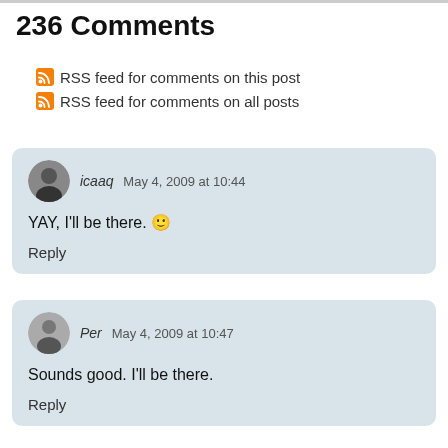236 Comments
RSS feed for comments on this post
RSS feed for comments on all posts
icaaq  May 4, 2009 at 10:44
YAY, I'll be there. 🙂
Reply
Per  May 4, 2009 at 10:47
Sounds good. I'll be there.
Reply